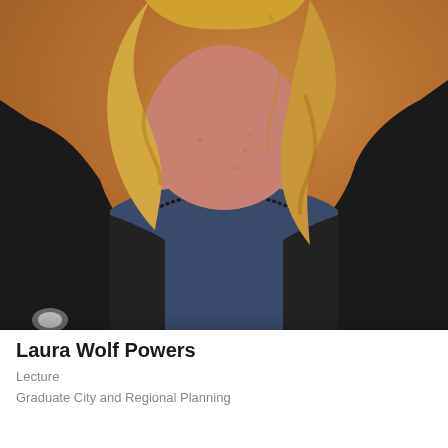[Figure (photo): Professional headshot of a woman with blonde wavy hair, wearing a black cardigan over a navy blue top, photographed against a warm brown/orange background. The photo shows her from approximately the waist up.]
Laura Wolf Powers
Lecture
Graduate City and Regional Planning